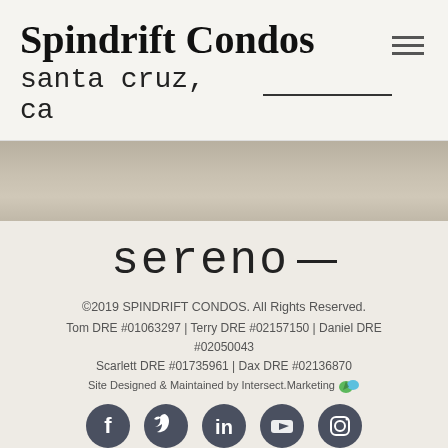Spindrift Condos
santa cruz, ca —
[Figure (photo): Gray/beige textured banner image, horizontal strip]
[Figure (logo): Sereno— logo in monospace font with em dash]
©2019 SPINDRIFT CONDOS. All Rights Reserved.
Tom DRE #01063297 | Terry DRE #02157150 | Daniel DRE #02050043
Scarlett DRE #01735961 | Dax DRE #02136870
Site Designed & Maintained by Intersect.Marketing 🌿
[Figure (infographic): Row of 5 social media icons: Facebook, Twitter, LinkedIn, YouTube, Instagram — dark gray circles]